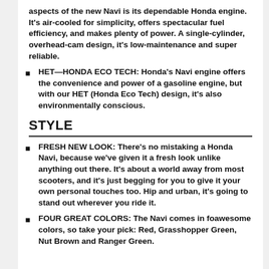aspects of the new Navi is its dependable Honda engine. It's air-cooled for simplicity, offers spectacular fuel efficiency, and makes plenty of power. A single-cylinder, overhead-cam design, it's low-maintenance and super reliable.
HET—HONDA ECO TECH: Honda's Navi engine offers the convenience and power of a gasoline engine, but with our HET (Honda Eco Tech) design, it's also environmentally conscious.
STYLE
FRESH NEW LOOK: There's no mistaking a Honda Navi, because we've given it a fresh look unlike anything out there. It's about a world away from most scooters, and it's just begging for you to give it your own personal touches too. Hip and urban, it's going to stand out wherever you ride it.
FOUR GREAT COLORS: The Navi comes in four awesome colors, so take your pick: Red, Grasshopper Green, Nut Brown and Ranger Green.